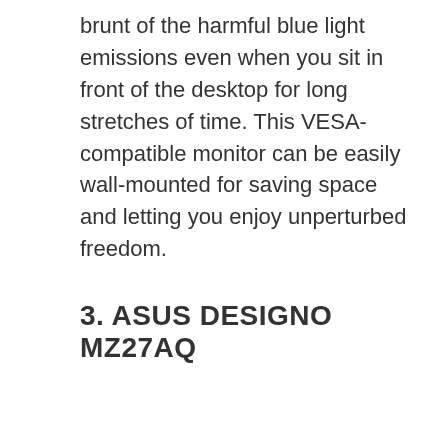brunt of the harmful blue light emissions even when you sit in front of the desktop for long stretches of time. This VESA-compatible monitor can be easily wall-mounted for saving space and letting you enjoy unperturbed freedom.
3. ASUS DESIGNO MZ27AQ